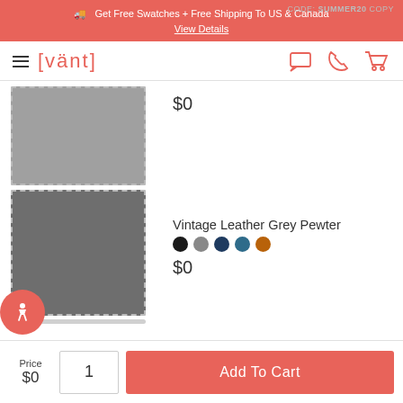CODE: SUMMER20 COPY
Get Free Swatches + Free Shipping To US & Canada
View Details
[Figure (logo): Vant brand logo with hamburger menu and navigation icons (chat, phone, cart) in coral/red color]
[Figure (photo): Two fabric swatches - light grey and dark grey Vintage Leather Grey Pewter fabric samples with dashed borders]
$0
Vintage Leather Grey Pewter
[Figure (other): Five color selector dots: black, grey, dark navy, steel blue, brown/tan]
$0
Price
$0
1
Add To Cart